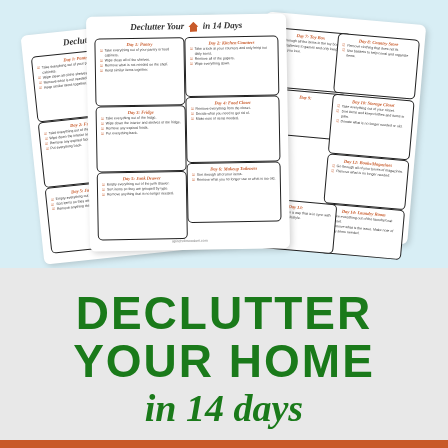[Figure (illustration): Multiple overlapping printed worksheet cards showing a 'Declutter Your Home in 14 Days' guide with daily tasks such as pantry, fridge, junk drawer, kitchen counters, food closet, makeup toiletries, toy box, country store, storage closet, books/magazines, and laundry room. Cards have rounded corners and dark borders on a light blue background.]
DECLUTTER YOUR HOME in 14 days